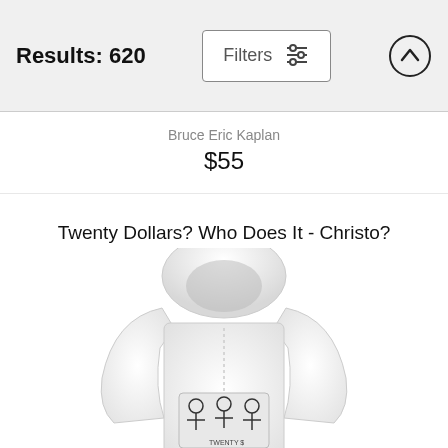Results: 620
Filters
Bruce Eric Kaplan
$55
Twenty Dollars? Who Does It - Christo?
Mort Gerberg
$55
[Figure (photo): White hoodie sweatshirt with a cartoon/illustration graphic on the back, partially visible at bottom of page]